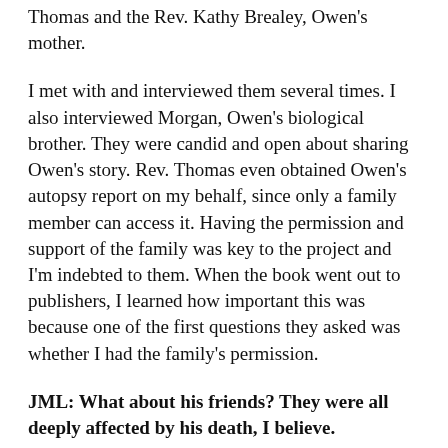Thomas and the Rev. Kathy Brealey, Owen's mother.
I met with and interviewed them several times. I also interviewed Morgan, Owen's biological brother. They were candid and open about sharing Owen's story. Rev. Thomas even obtained Owen's autopsy report on my behalf, since only a family member can access it. Having the permission and support of the family was key to the project and I'm indebted to them. When the book went out to publishers, I learned how important this was because one of the first questions they asked was whether I had the family's permission.
JML: What about his friends? They were all deeply affected by his death, I believe.
VM: It was clear that his loss affected them deeply. Most of his friends were eager to speak with me about Owen. As I spoke with them, it was clear that